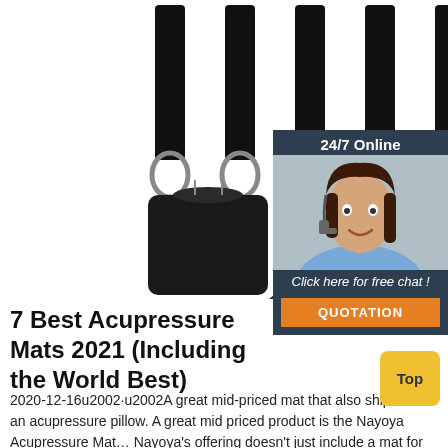[Figure (photo): Product photo showing resistance band set with black straps, carabiners, handles, a black drawstring bag, and accessories on a white background]
7 Best Acupressure Mats 2021 (Including the World Best)
2020-12-16u2002·u2002A great mid-priced mat that also ships with an acupressure pillow. A great mid priced product is the Nayoya Acupressure Mat… Nayoya's offering doesn't just include a mat for your back, covered in over 6,000 high quality spikes. It also ships with an